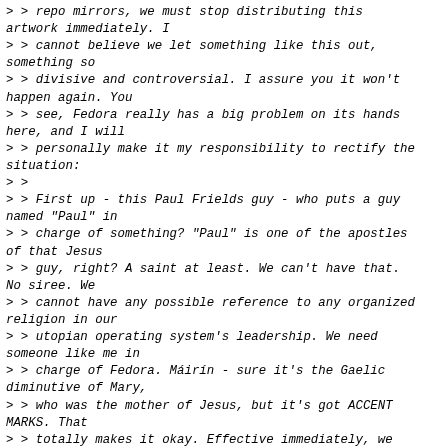> > repo mirrors, we must stop distributing this artwork immediately. I
> > cannot believe we let something like this out, something so
> > divisive and controversial. I assure you it won't happen again. You
> > see, Fedora really has a big problem on its hands here, and I will
> > personally make it my responsibility to rectify the situation:
> >
> > First up - this Paul Frields guy - who puts a guy named "Paul" in
> > charge of something? "Paul" is one of the apostles of that Jesus
> > guy, right? A saint at least. We can't have that. No siree. We
> > cannot have any possible reference to any organized religion in our
> > utopian operating system's leadership. We need someone like me in
> > charge of Fedora. Máirín - sure it's the Gaelic diminutive of Mary,
> > who was the mother of Jesus, but it's got ACCENT MARKS. That
> > totally makes it okay. Effective immediately, we have to revoke
> > Fedora version control access to anyone with a name that has
> > religious roots. We've got to nip this in the bud.